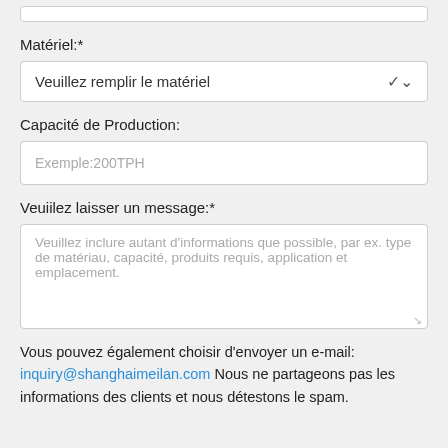Matériel:*
Veuillez remplir le matériel
Capacité de Production:
Exemple:200TPH
Veuiilez laisser un message:*
Veuillez inclure autant d'informations que possible, par ex. type de matériau, capacité, produits requis, application et emplacement.
Vous pouvez également choisir d'envoyer un e-mail: inquiry@shanghaimeilan.com Nous ne partageons pas les informations des clients et nous détestons le spam.